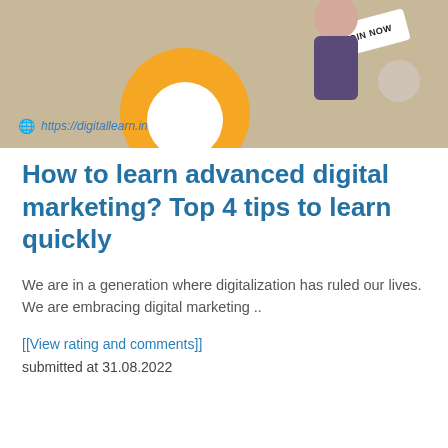[Figure (photo): Website banner with tan/beige background, yellow circle, person figure on right side, 'JOIN NOW' badge, and website URL https://digitallearn.in at bottom left]
How to learn advanced digital marketing? Top 4 tips to learn quickly
We are in a generation where digitalization has ruled our lives. We are embracing digital marketing ..
[[View rating and comments]]
submitted at 31.08.2022